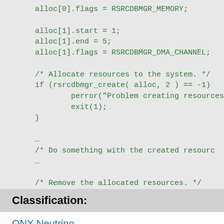[Figure (other): Code block showing C code for resource allocation using rsrcdbmgr API. Contains alloc[0].flags, alloc[1] setup, rsrcdbmgr_create call, and rsrcdbmgr_destroy call.]
Classification:
QNX Neutrino